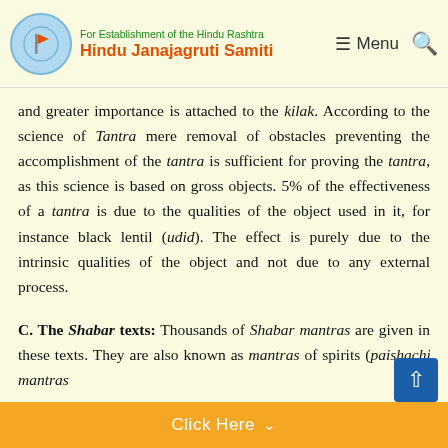For Establishment of the Hindu Rashtra | Hindu Janajagruti Samiti
and greater importance is attached to the kilak. According to the science of Tantra mere removal of obstacles preventing the accomplishment of the tantra is sufficient for proving the tantra, as this science is based on gross objects. 5% of the effectiveness of a tantra is due to the qualities of the object used in it, for instance black lentil (udid). The effect is purely due to the intrinsic qualities of the object and not due to any external process.
C. The Shabar texts:
Thousands of Shabar mantras are given in these texts. They are also known as mantras of spirits (paishachik mantras)...